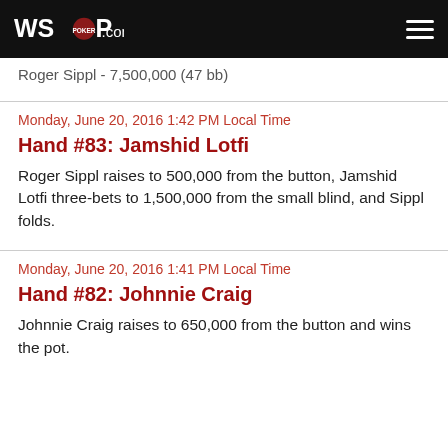WSOP.com
Roger Sippl - 7,500,000 (47 bb)
Monday, June 20, 2016 1:42 PM Local Time
Hand #83: Jamshid Lotfi
Roger Sippl raises to 500,000 from the button, Jamshid Lotfi three-bets to 1,500,000 from the small blind, and Sippl folds.
Monday, June 20, 2016 1:41 PM Local Time
Hand #82: Johnnie Craig
Johnnie Craig raises to 650,000 from the button and wins the pot.